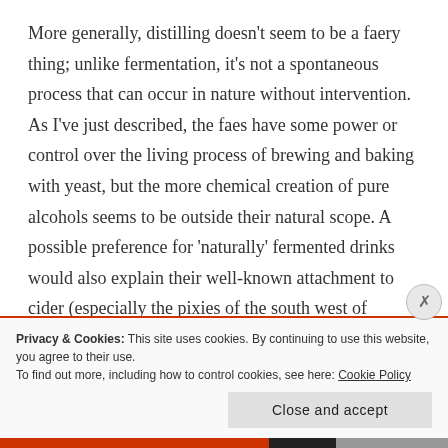More generally, distilling doesn't seem to be a faery thing; unlike fermentation, it's not a spontaneous process that can occur in nature without intervention. As I've just described, the faes have some power or control over the living process of brewing and baking with yeast, but the more chemical creation of pure alcohols seems to be outside their natural scope. A possible preference for 'naturally' fermented drinks would also explain their well-known attachment to cider (especially the pixies of the south west of England) and also,
Privacy & Cookies: This site uses cookies. By continuing to use this website, you agree to their use.
To find out more, including how to control cookies, see here: Cookie Policy
Close and accept